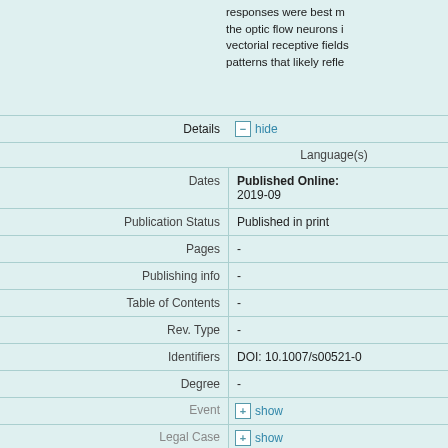responses were best m the optic flow neurons i vectorial receptive fields patterns that likely refle
| Field | Value |
| --- | --- |
| Details | hide |
| Language(s) |  |
| Dates | Published Online: 2019-09 |
| Publication Status | Published in print |
| Pages | - |
| Publishing info | - |
| Table of Contents | - |
| Rev. Type | - |
| Identifiers | DOI: 10.1007/s00521-0 |
| Degree | - |
| Event | show |
| Legal Case | show |
| Project information | show |
| Source 1 | hide |
| Title | Neural Computing and A |
| Source Genre | Journal |